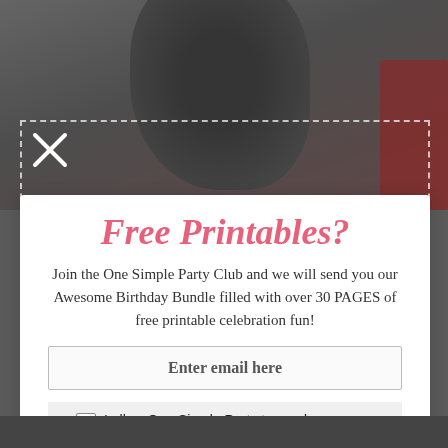[Figure (photo): Background photo of a dark chocolate cake or cupcake on a grey background, partially visible]
Free Printables?
Join the One Simple Party Club and we will send you our Awesome Birthday Bundle filled with over 30 PAGES of free printable celebration fun!
Enter email here
I allow One Simple Party to send me emails
I agree to the Terms of Service and Privacy Policy
I want to join!